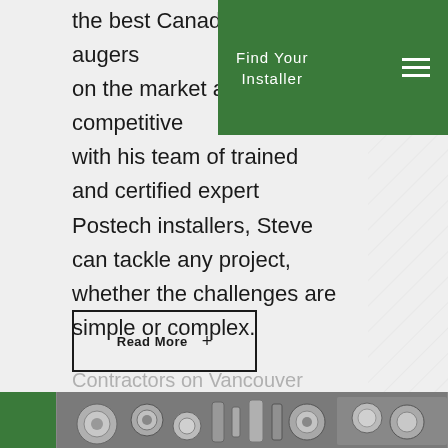Find Your Installer
the best Canadian-made augers on the market at a competitive with his team of trained and certified expert Postech installers, Steve can tackle any project, whether the challenges are simple or complex.
Contractors on Vancouver Island use Postech Screw Piles in their projects because they know they are the best at starting off on a solid
Read More +
[Figure (photo): Bottom strip showing screw pile hardware components and a green block on the left]